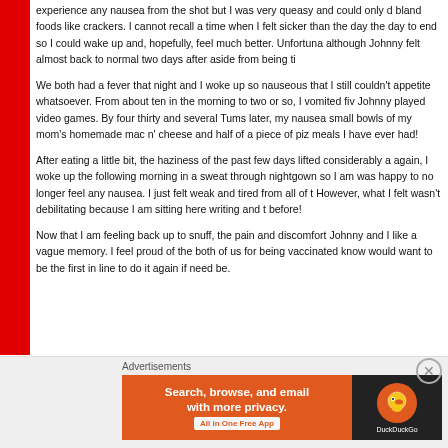experience any nausea from the shot but I was very queasy and could only eat bland foods like crackers. I cannot recall a time when I felt sicker than the day the day to end so I could wake up and, hopefully, feel much better. Unfortunately, although Johnny felt almost back to normal two days after aside from being ti
We both had a fever that night and I woke up so nauseous that I still couldn't appetite whatsoever. From about ten in the morning to two or so, I vomited fiv Johnny played video games. By four thirty and several Tums later, my nausea small bowls of my mom's homemade mac n' cheese and half of a piece of piz meals I have ever had!
After eating a little bit, the haziness of the past few days lifted considerably a again, I woke up the following morning in a sweat through nightgown so I am was happy to no longer feel any nausea. I just felt weak and tired from all of t However, what I felt wasn't debilitating because I am sitting here writing and t before!
Now that I am feeling back up to snuff, the pain and discomfort Johnny and I like a vague memory. I feel proud of the both of us for being vaccinated know would want to be the first in line to do it again if need be.
Advertisements
[Figure (other): DuckDuckGo advertisement banner: orange background on left with text 'Search, browse, and email with more privacy. All in One Free App', and dark background on right with DuckDuckGo logo.]